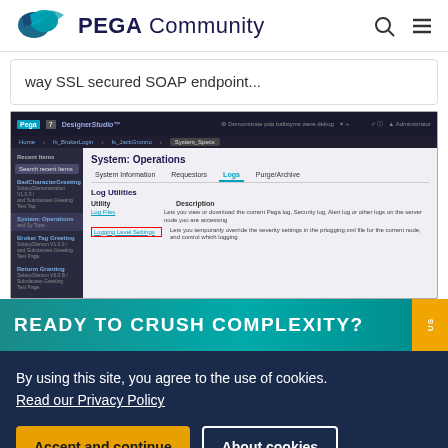PEGA Community
way SSL secured SOAP endpoint...
[Figure (screenshot): PEGA Designer Studio screenshot showing System Operations > Logs tab with Log Utilities table listing Log Files and Logging Level Settings utilities]
READY TO CRUSH COMPLEXITY?
By using this site, you agree to the use of cookies. Read our Privacy Policy
Accept and continue   About cookies